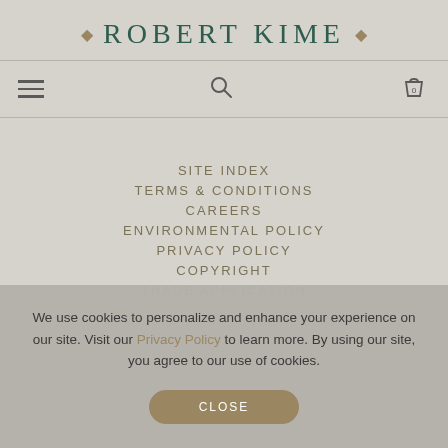◆ ROBERT KIME ◆
[Figure (screenshot): Navigation bar with hamburger menu icon on left, search icon in center, and shopping bag icon with '0' on right]
SITE INDEX
TERMS & CONDITIONS
CAREERS
ENVIRONMENTAL POLICY
PRIVACY POLICY
COPYRIGHT
TRADE APPLICATION
We use cookies to personalize and enhance your experience on our site. Visit our Privacy Policy to learn more. By using our site, you agree to our use of cookies.
CLOSE